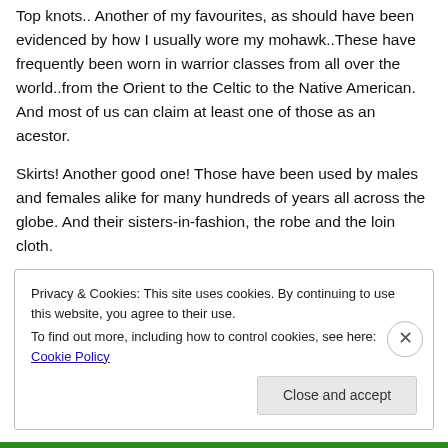Top knots.. Another of my favourites, as should have been evidenced by how I usually wore my mohawk..These have frequently been worn in warrior classes from all over the world..from the Orient to the Celtic to the Native American. And most of us can claim at least one of those as an acestor.
Skirts! Another good one! Those have been used by males and females alike for many hundreds of years all across the globe. And their sisters-in-fashion, the robe and the loin cloth.
Privacy & Cookies: This site uses cookies. By continuing to use this website, you agree to their use.
To find out more, including how to control cookies, see here: Cookie Policy